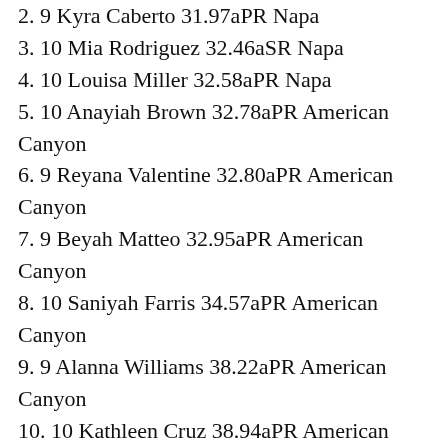2. 9 Kyra Caberto 31.97aPR Napa
3. 10 Mia Rodriguez 32.46aSR Napa
4. 10 Louisa Miller 32.58aPR Napa
5. 10 Anayiah Brown 32.78aPR American Canyon
6. 9 Reyana Valentine 32.80aPR American Canyon
7. 9 Beyah Matteo 32.95aPR American Canyon
8. 10 Saniyah Farris 34.57aPR American Canyon
9. 9 Alanna Williams 38.22aPR American Canyon
10. 10 Kathleen Cruz 38.94aPR American Canyon
10 Kennedy Brown DNS American Canyon
400 Meters Junior Varsity – Finals x
1. 9 Beyah Matteo 1:00.82aPR American Canyon